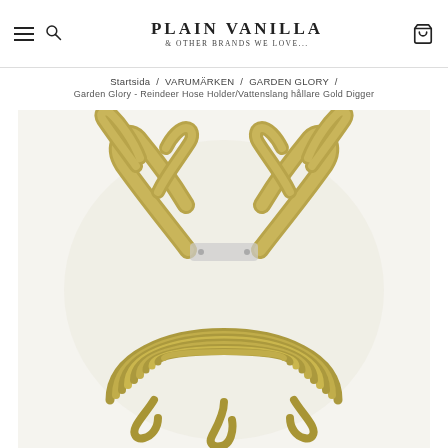PLAIN VANILLA & OTHER BRANDS WE LOVE...
Startsida / VARUMÄRKEN / GARDEN GLORY / Garden Glory - Reindeer Hose Holder/Vattenslang hållare Gold Digger
[Figure (photo): Gold-colored reindeer antler hose holder with coiled gold garden hose, mounted on white background. The product is a decorative wall-mounted hose holder shaped like reindeer antlers in a metallic gold finish, with the matching gold hose coiled around the base.]